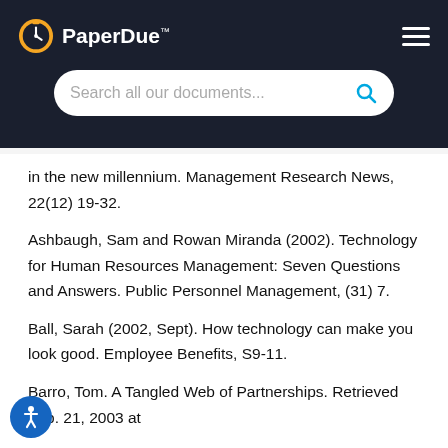[Figure (logo): PaperDue logo with clock icon and search bar on dark background header]
in the new millennium. Management Research News, 22(12) 19-32.
Ashbaugh, Sam and Rowan Miranda (2002). Technology for Human Resources Management: Seven Questions and Answers. Public Personnel Management, (31) 7.
Ball, Sarah (2002, Sept). How technology can make you look good. Employee Benefits, S9-11.
Barro, Tom. A Tangled Web of Partnerships. Retrieved Feb. 21, 2003 at